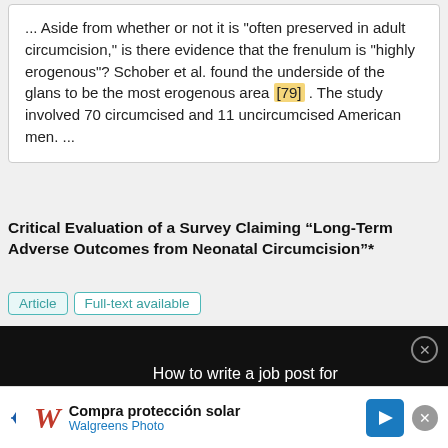... Aside from whether or not it is "often preserved in adult circumcision," is there evidence that the frenulum is "highly erogenous"? Schober et al. found the underside of the glans to be the most erogenous area [79] . The study involved 70 circumcised and 11 uncircumcised American men. ...
Critical Evaluation of a Survey Claiming “Long-Term Adverse Outcomes from Neonatal Circumcision”*
Article   Full-text available
[Figure (screenshot): Dark overlay banner with red bracket symbol [] and white text: 'How to write a job post for a scientist, based on an analysis of how scientists have engaged with 2-million job posts']
... Pain Disability Questionnaire focuses on pain localization and radiation, time of the first episode of
[Figure (other): Walgreens Photo advertisement banner: Compra protección solar, with Walgreens cursive logo and blue direction arrow icon]